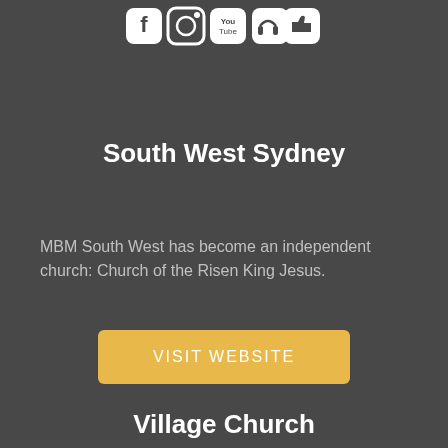[Figure (illustration): Row of social media icons (Facebook, Instagram, YouTube, and two others) in white on dark background]
South West Sydney
MBM South West has become an independent church: Church of the Risen King Jesus.
VISIT WEBSITE
Village Church